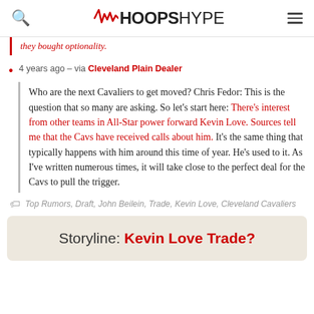HOOPSHYPE
they bought optionality.
4 years ago – via Cleveland Plain Dealer
Who are the next Cavaliers to get moved? Chris Fedor: This is the question that so many are asking. So let's start here: There's interest from other teams in All-Star power forward Kevin Love. Sources tell me that the Cavs have received calls about him. It's the same thing that typically happens with him around this time of year. He's used to it. As I've written numerous times, it will take close to the perfect deal for the Cavs to pull the trigger.
Top Rumors, Draft, John Beilein, Trade, Kevin Love, Cleveland Cavaliers
Storyline: Kevin Love Trade?